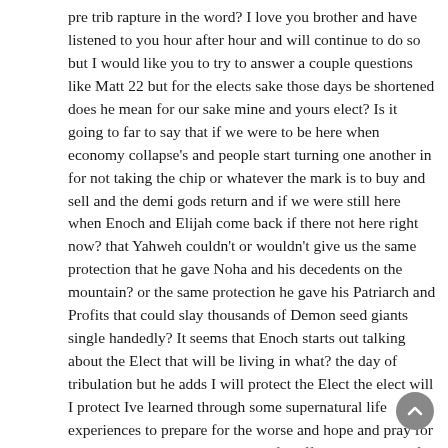pre trib rapture in the word? I love you brother and have listened to you hour after hour and will continue to do so but I would like you to try to answer a couple questions like Matt 22 but for the elects sake those days be shortened does he mean for our sake mine and yours elect? Is it going to far to say that if we were to be here when economy collapse's and people start turning one another in for not taking the chip or whatever the mark is to buy and sell and the demi gods return and if we were still here when Enoch and Elijah come back if there not here right now? that Yahweh couldn't or wouldn't give us the same protection that he gave Noha and his decedents on the mountain? or the same protection he gave his Patriarch and Profits that could slay thousands of Demon seed giants single handedly? It seems that Enoch starts out talking about the Elect that will be living in what? the day of tribulation but he adds I will protect the Elect the elect will I protect Ive learned through some supernatural life experiences to prepare for the worse and hope and pray for the best what Im asking is it it to far off the path to say if we were going to live in and through the tribulation is it possible Yahweh could provide the